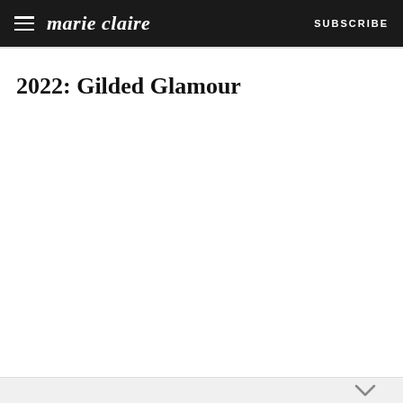marie claire SUBSCRIBE
2022: Gilded Glamour